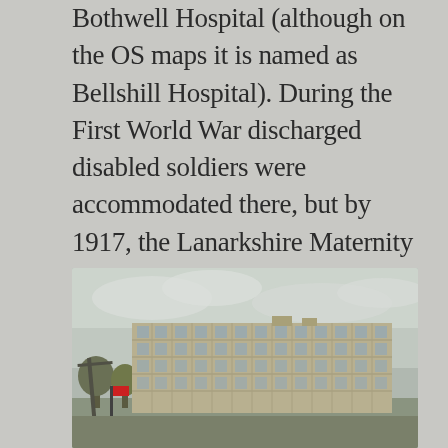Bothwell Hospital (although on the OS maps it is named as Bellshill Hospital). During the First World War discharged disabled soldiers were accommodated there, but by 1917, the Lanarkshire Maternity Hospital had been established on the site. Between the Wars further additions were made but the need for a new hospital was recognized by the early years of the National Health Service's administration.
[Figure (photo): Exterior photograph of a large multi-storey hospital building with a grid-like facade of windows, surrounded by trees, with an overcast sky in the background.]